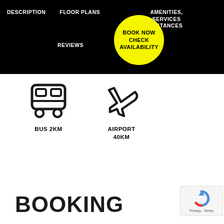DESCRIPTION   FLOOR PLANS   AMENITIES, SERVICES DISTANCES
REVIEWS
BOOK NOW CHECK AVAILABILITY
[Figure (infographic): Bus icon with label BUS 2KM and airplane icon with label AIRPORT 40KM]
BOOKING